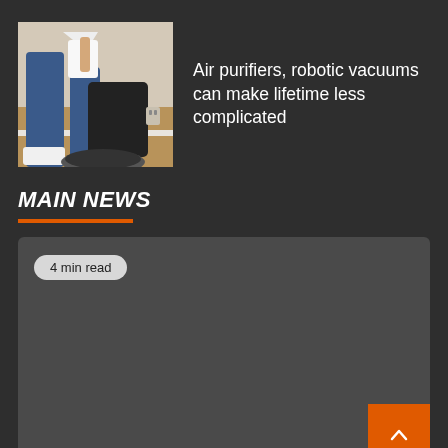[Figure (photo): Person emptying or handling a robotic vacuum cleaner docking station indoors]
Air purifiers, robotic vacuums can make lifetime less complicated
MAIN NEWS
4 min read